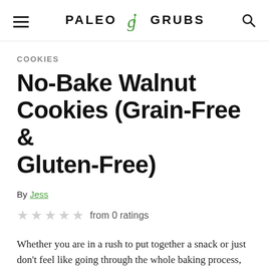PALEO GRUBS
COOKIES
No-Bake Walnut Cookies (Grain-Free & Gluten-Free)
By Jess
from 0 ratings
Whether you are in a rush to put together a snack or just don't feel like going through the whole baking process,